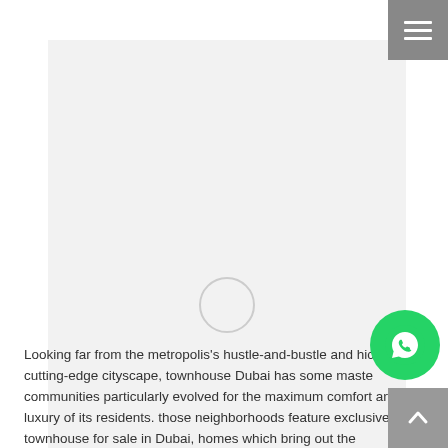[Figure (screenshot): Navigation hamburger menu icon button in dark grey/charcoal at top right corner with three white horizontal lines]
[Figure (photo): Large image placeholder area with light grey background and a circular loading spinner in the center]
[Figure (other): WhatsApp green circular button with phone handset icon, positioned at bottom right]
[Figure (other): Scroll-to-top grey square button with upward arrow at bottom right corner]
Looking far from the metropolis's hustle-and-bustle and hi… e cutting-edge cityscape, townhouse Dubai has some maste… communities particularly evolved for the maximum comfort and luxury of its residents. those neighborhoods feature exclusive townhouse for sale in Dubai, homes which bring out the exceptional of both high-rise and…